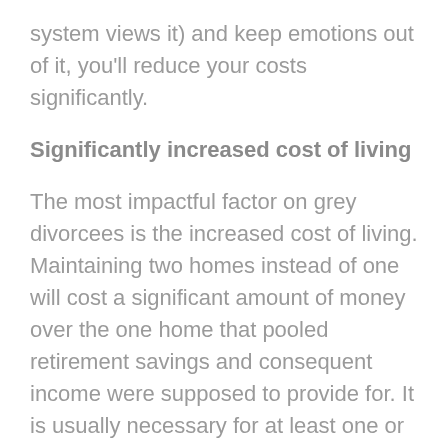system views it) and keep emotions out of it, you'll reduce your costs significantly.
Significantly increased cost of living
The most impactful factor on grey divorcees is the increased cost of living. Maintaining two homes instead of one will cost a significant amount of money over the one home that pooled retirement savings and consequent income were supposed to provide for. It is usually necessary for at least one or both individuals to accept a reduced quality of life and purchase a cheaper home individually than the one that they had purchased together. A fight over the fate of the marital home can easily turn what was an